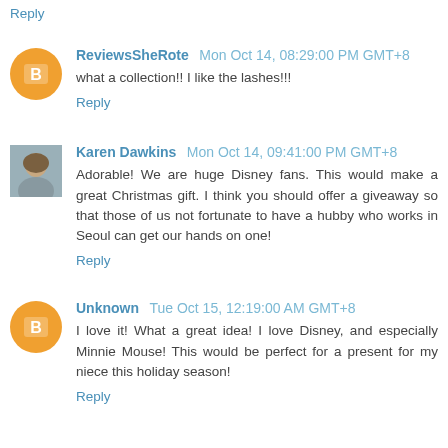Reply
ReviewsSheRote  Mon Oct 14, 08:29:00 PM GMT+8
what a collection!! I like the lashes!!!
Reply
Karen Dawkins  Mon Oct 14, 09:41:00 PM GMT+8
Adorable! We are huge Disney fans. This would make a great Christmas gift. I think you should offer a giveaway so that those of us not fortunate to have a hubby who works in Seoul can get our hands on one!
Reply
Unknown  Tue Oct 15, 12:19:00 AM GMT+8
I love it! What a great idea! I love Disney, and especially Minnie Mouse! This would be perfect for a present for my niece this holiday season!
Reply